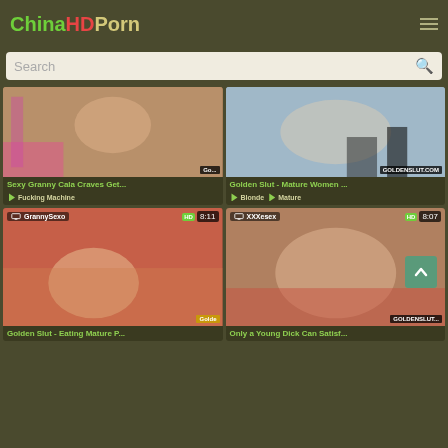ChinaHDPorn
Search
[Figure (screenshot): Thumbnail for video: Sexy Granny Cala Craves Get...]
Sexy Granny Cala Craves Get...
Fucking Machine
[Figure (screenshot): Thumbnail for video: Golden Slut - Mature Women ...]
Golden Slut - Mature Women ...
Blonde  Mature
[Figure (screenshot): Thumbnail for video: Golden Slut - Eating Mature P... by GrannySexo, duration 8:11]
Golden Slut - Eating Mature P...
[Figure (screenshot): Thumbnail for video: Only a Young Dick Can Satisf... by XXXesex, duration 8:07]
Only a Young Dick Can Satisf...